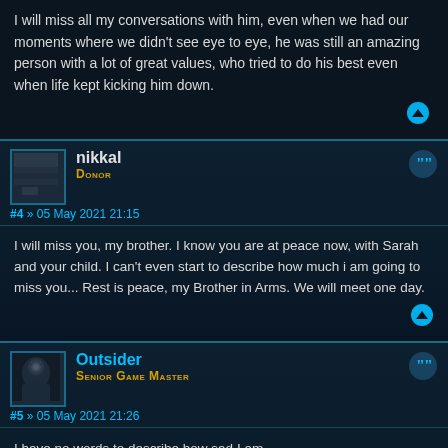I will miss all my conversations with him, even when we had our moments where we didn't see eye to eye, he was still an amazing person with a lot of great values, who tried to do his best even when life kept kicking him down.
nikkal
Donor
#4 » 05 May 2021 21:15
I will miss you, my brother. I know you are at peace now, with Sarah and your child. I can't even start to describe how much i am going to miss you... Rest is peace, my Brother in Arms. We will meet one day.
Outsider
Senior Game Master
#5 » 05 May 2021 21:26
I have no words to describe how sad I am
Loosing my tutor as GM, one of my closest friends here on our server.

You may rest in peace now, friend.